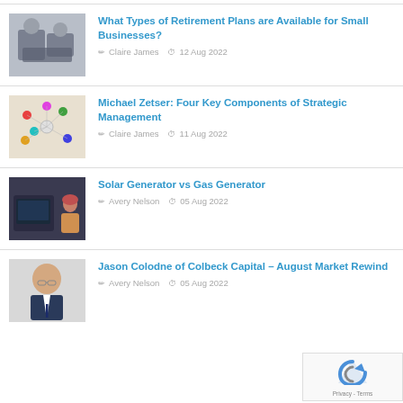What Types of Retirement Plans are Available for Small Businesses? | Claire James | 12 Aug 2022
Michael Zetser: Four Key Components of Strategic Management | Claire James | 11 Aug 2022
Solar Generator vs Gas Generator | Avery Nelson | 05 Aug 2022
Jason Colodne of Colbeck Capital – August Market Rewind | Avery Nelson | 05 Aug 2022